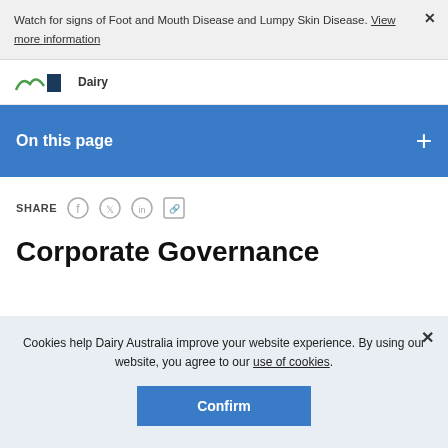Watch for signs of Foot and Mouth Disease and Lumpy Skin Disease. View more information
[Figure (logo): Dairy Australia logo with green hills and dark blue rectangle]
On this page
SHARE
Corporate Governance
Cookies help Dairy Australia improve your website experience. By using our website, you agree to our use of cookies.
Confirm